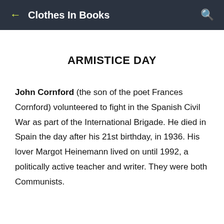Clothes In Books
ARMISTICE DAY
John Cornford (the son of the poet Frances Cornford) volunteered to fight in the Spanish Civil War as part of the International Brigade. He died in Spain the day after his 21st birthday, in 1936. His lover Margot Heinemann lived on until 1992, a politically active teacher and writer. They were both Communists.